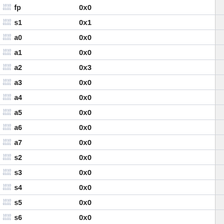| Register | Value |  |
| --- | --- | --- |
| fp | 0x0 |  |
| s1 | 0x1 |  |
| a0 | 0x0 |  |
| a1 | 0x0 |  |
| a2 | 0x3 |  |
| a3 | 0x0 |  |
| a4 | 0x0 |  |
| a5 | 0x0 |  |
| a6 | 0x0 |  |
| a7 | 0x0 |  |
| s2 | 0x0 |  |
| s3 | 0x0 |  |
| s4 | 0x0 |  |
| s5 | 0x0 |  |
| s6 | 0x0 |  |
| s7 | 0x0 |  |
| s8 | 0x0 |  |
| s9 | 0x0 |  |
| s10 | 0x0 |  |